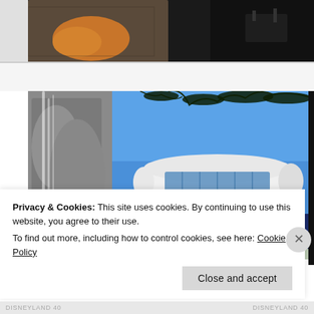[Figure (photo): Cropped top portion of a landscape/outdoor photograph showing rocky terrain with orange lichen and dark trees against a dark background]
[Figure (photo): Photograph of the Monsanto House of the Future at Disneyland, a futuristic white pod-shaped building elevated on a pedestal, surrounded by trees and rocks with a waterfall. A Monsanto sign with large red M is visible in the lower right corner.]
Privacy & Cookies: This site uses cookies. By continuing to use this website, you agree to their use.
To find out more, including how to control cookies, see here: Cookie Policy
Close and accept